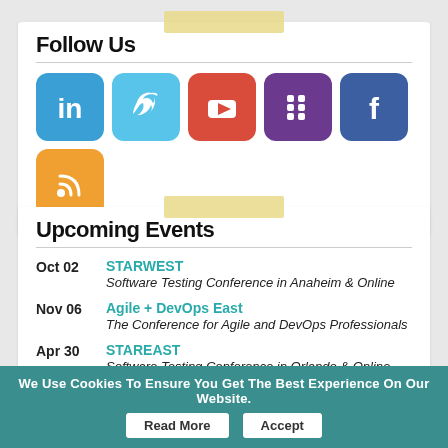Follow Us
[Figure (illustration): Social media icons: LinkedIn (blue), Twitter (light blue), YouTube (red), Slack (purple), Facebook (dark blue), RSS (orange)]
Upcoming Events
Oct 02 — STARWEST — Software Testing Conference in Anaheim & Online
Nov 06 — Agile + DevOps East — The Conference for Agile and DevOps Professionals
Apr 30 — STAREAST — Software Testing Conference in Orlando & Online
Jun 04 — Agile + DevOps West — The Latest in Agile and DevOps
We Use Cookies To Ensure You Get The Best Experience On Our Website.  Read More  Accept